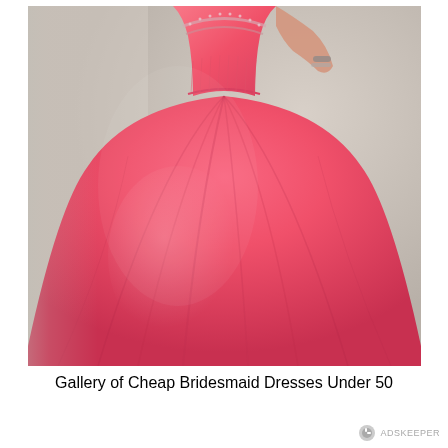[Figure (photo): A woman wearing a voluminous coral/hot pink ball gown with a beaded strapless bodice and a large full tulle skirt, photographed from the waist down against a light gray background.]
Gallery of Cheap Bridesmaid Dresses Under 50
ADSKEEPER